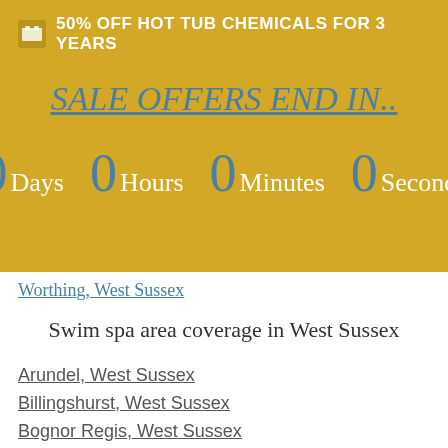50% OFF HOT TUB CHEMICALS FOR 3 YEARS
SALE OFFERS END IN..
0 Days  0 Hours  0 Minutes  0 Seconds
Worthing, West Sussex
Swim spa area coverage in West Sussex
Arundel, West Sussex
Billingshurst, West Sussex
Bognor Regis, West Sussex
Burgess hill, West Sussex
Chichester, West Sussex